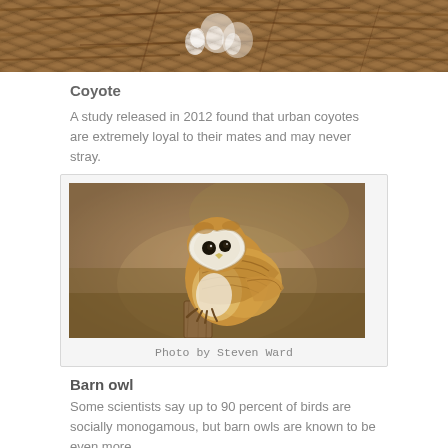[Figure (photo): Top portion of a photo showing what appears to be a nest with eggs, brown straw/fiber textures with white objects visible]
Coyote
A study released in 2012 found that urban coyotes are extremely loyal to their mates and may never stray.
[Figure (photo): A barn owl perched on a wooden post, photographed by Steven Ward. The owl has a white heart-shaped face, golden-brown feathered body, and is looking slightly downward.]
Photo by Steven Ward
Barn owl
Some scientists say up to 90 percent of birds are socially monogamous, but barn owls are known to be even more